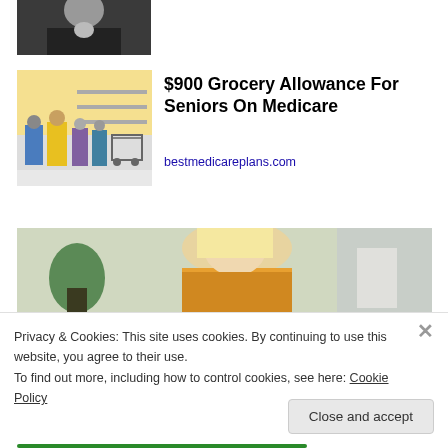[Figure (photo): Black and white close-up photo of a man's face/beard at the top]
[Figure (photo): Photo of a crowded grocery store with shoppers and shopping carts]
$900 Grocery Allowance For Seniors On Medicare
bestmedicareplans.com
[Figure (photo): Photo of a blonde woman in a yellow sweater looking downward]
Privacy & Cookies: This site uses cookies. By continuing to use this website, you agree to their use.
To find out more, including how to control cookies, see here: Cookie Policy
Close and accept